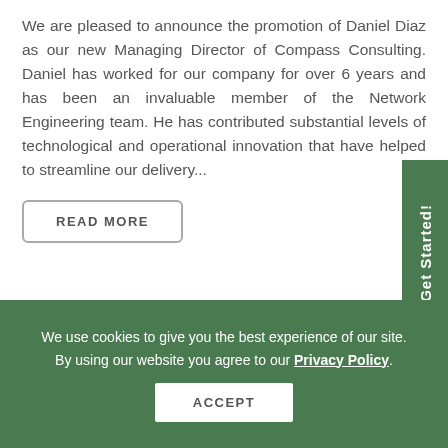We are pleased to announce the promotion of Daniel Diaz as our new Managing Director of Compass Consulting. Daniel has worked for our company for over 6 years and has been an invaluable member of the Network Engineering team. He has contributed substantial levels of technological and operational innovation that have helped to streamline our delivery...
READ MORE
Let's Get Started!
We use cookies to give you the best experience of our site. By using our website you agree to our Privacy Policy.
ACCEPT